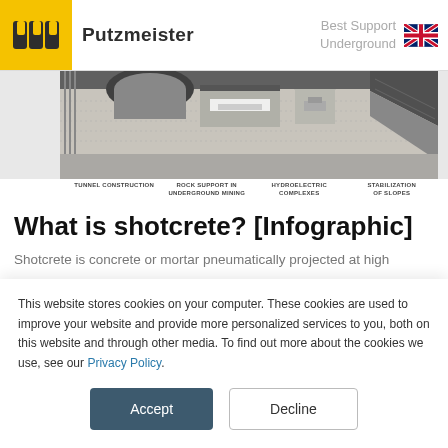[Figure (logo): Putzmeister logo with yellow square background, PM icon, brand name, Best Support Underground tagline, and UK flag]
[Figure (illustration): Cross-section diagram showing underground construction scenes: tunnel construction, rock support in underground mining, hydroelectric complexes, stabilization of slopes]
TUNNEL CONSTRUCTION | ROCK SUPPORT IN UNDERGROUND MINING | HYDROELECTRIC COMPLEXES | STABILIZATION OF SLOPES
What is shotcrete? [Infographic]
Shotcrete is concrete or mortar pneumatically projected at high
This website stores cookies on your computer. These cookies are used to improve your website and provide more personalized services to you, both on this website and through other media. To find out more about the cookies we use, see our Privacy Policy.